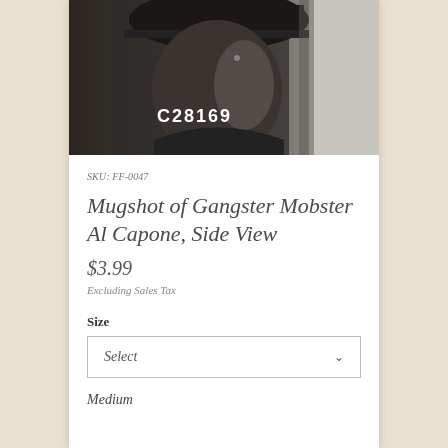[Figure (photo): Black and white mugshot photo of gangster Al Capone, side view, with the prisoner number C28169 visible on clothing]
SKU: FF-0047
Mugshot of Gangster Mobster Al Capone, Side View
$3.99
Excluding Sales Tax
Size
Select
Medium